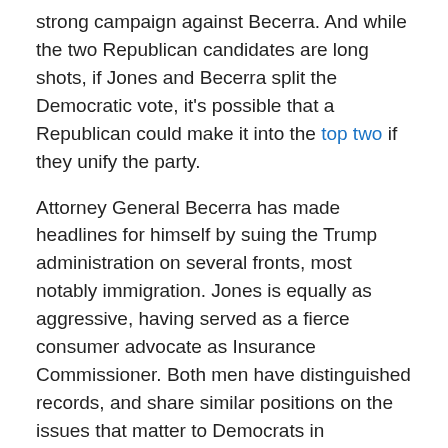strong campaign against Becerra. And while the two Republican candidates are long shots, if Jones and Becerra split the Democratic vote, it's possible that a Republican could make it into the top two if they unify the party.
Attorney General Becerra has made headlines for himself by suing the Trump administration on several fronts, most notably immigration. Jones is equally as aggressive, having served as a fierce consumer advocate as Insurance Commissioner. Both men have distinguished records, and share similar positions on the issues that matter to Democrats in California.
Jones is very smart and I've been impressed with his dedication to public service. After graduating with a law degree and a degree in public policy from Harvard, he